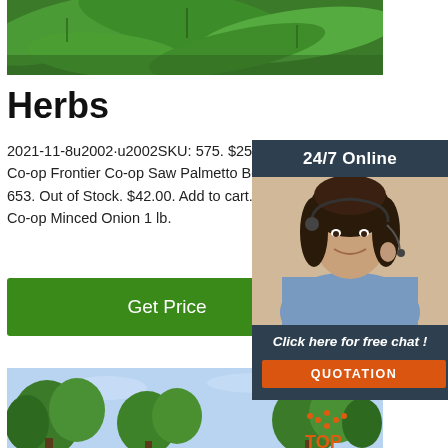[Figure (photo): Green leaves/plant photo at top of page]
Herbs
2021-11-8u2002·u2002SKU: 575. $25.00. Add to Co-op Frontier Co-op Saw Palmetto Berries, Wh 653. Out of Stock. $42.00. Add to cart. Frontier C Co-op Minced Onion 1 lb.
[Figure (other): Green Get Price button]
[Figure (photo): 24/7 Online chat widget sidebar with woman customer service agent wearing headset, dark blue background, orange QUOTATION button]
[Figure (photo): Photo of trees (evergreen/conifer) against blue sky, with TOP logo overlay in bottom right]